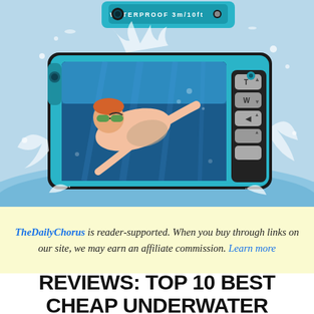[Figure (photo): A waterproof digital camera (teal/black) with a large LCD screen showing a child swimming underwater with goggles. The camera is surrounded by water splashes. Text on the camera reads WATERPROOF 3m/10ft.]
TheDailyChorus is reader-supported. When you buy through links on our site, we may earn an affiliate commission. Learn more
REVIEWS: TOP 10 BEST CHEAP UNDERWATER